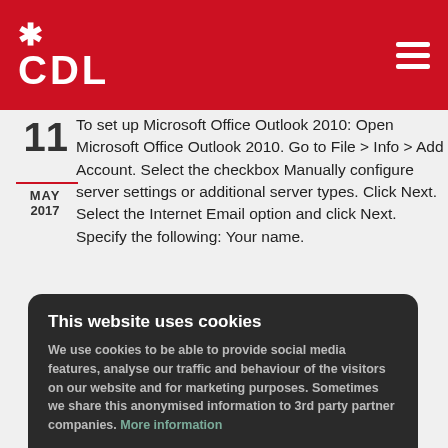CDL
To set up Microsoft Office Outlook 2010: Open Microsoft Office Outlook 2010. Go to File > Info > Add Account. Select the checkbox Manually configure server settings or additional server types. Click Next. Select the Internet Email option and click Next. Specify the following: Your name.
MAY 2017
[Figure (screenshot): Cookie consent overlay with dark background. Title: 'This website uses cookies'. Body: 'We use cookies to be able to provide social media features, analyse our traffic and behaviour of the visitors on our website and for marketing purposes. Sometimes we share this anonymised information to 3rd party partner companies. More information'. Buttons: 'I accept all Cookies' (green) and 'Change settings' (grey text).]
2017  Microsoft Outlook Express: Open Microsoft